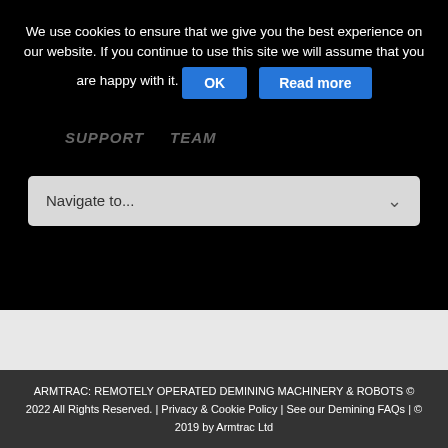We use cookies to ensure that we give you the best experience on our website. If you continue to use this site we will assume that you are happy with it.
OK
Read more
SUPPORT   TEAM
Navigate to...
ARMTRAC: REMOTELY OPERATED DEMINING MACHINERY & ROBOTS © 2022 All Rights Reserved. | Privacy & Cookie Policy | See our Demining FAQs | © 2019 by Armtrac Ltd